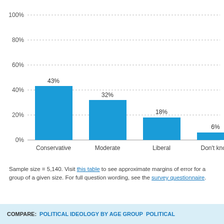[Figure (bar-chart): ]
Sample size = 5,140. Visit this table to see approximate margins of error for a group of a given size. For full question wording, see the survey questionnaire.
COMPARE: POLITICAL IDEOLOGY BY AGE GROUP  POLITICAL